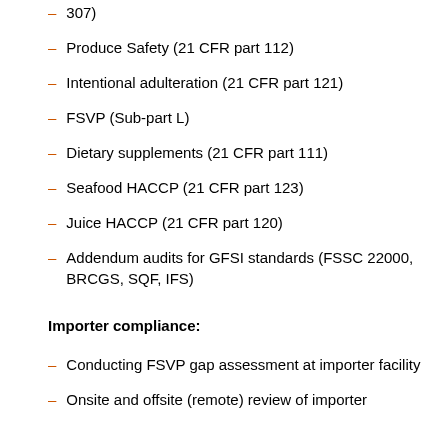307)
Produce Safety (21 CFR part 112)
Intentional adulteration (21 CFR part 121)
FSVP (Sub-part L)
Dietary supplements (21 CFR part 111)
Seafood HACCP (21 CFR part 123)
Juice HACCP (21 CFR part 120)
Addendum audits for GFSI standards (FSSC 22000, BRCGS, SQF, IFS)
Importer compliance:
Conducting FSVP gap assessment at importer facility
Onsite and offsite (remote) review of importer